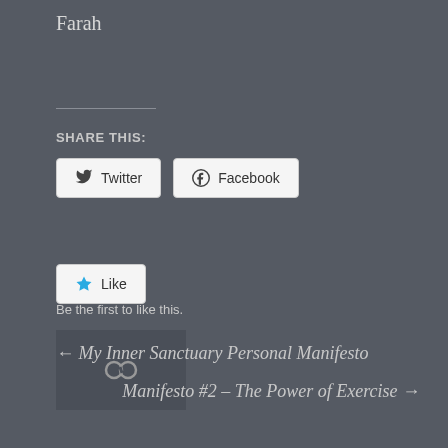Farah
SHARE THIS:
Twitter  Facebook
Like
Be the first to like this.
[Figure (other): Avatar/profile image placeholder with chain link icon]
← My Inner Sanctuary Personal Manifesto
Manifesto #2 – The Power of Exercise →